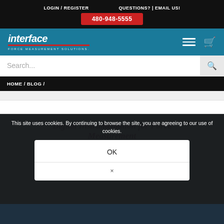LOGIN / REGISTER   QUESTIONS? | EMAIL US!
480-948-5555
[Figure (logo): Interface Force Measurement Solutions logo on teal navigation bar with hamburger menu and cart icon]
Search...
HOME / BLOG /
Digital Instrumentation for Force Measurement
This site uses cookies. By continuing to browse the site, you are agreeing to our use of cookies.
OK
×